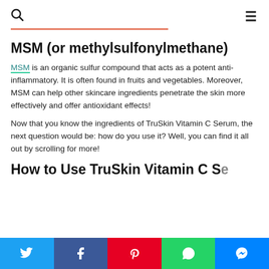🔍  ☰
MSM (or methylsulfonylmethane)
MSM is an organic sulfur compound that acts as a potent anti-inflammatory. It is often found in fruits and vegetables. Moreover, MSM can help other skincare ingredients penetrate the skin more effectively and offer antioxidant effects!
Now that you know the ingredients of TruSkin Vitamin C Serum, the next question would be: how do you use it? Well, you can find it all out by scrolling for more!
How to Use TruSkin Vitamin C S…